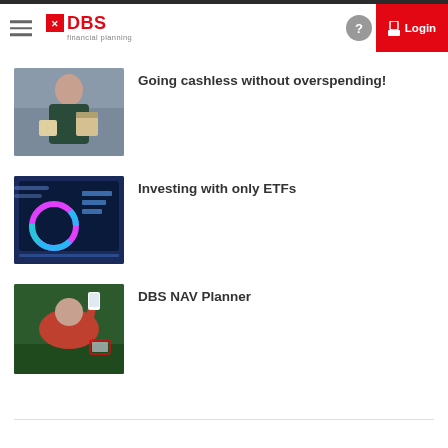[Figure (screenshot): DBS Financial Planning app navigation bar with hamburger menu, DBS logo, help icon, and red Login button]
[Figure (photo): Young Asian woman carrying shopping bags on a city street]
Going cashless without overspending!
[Figure (photo): Financial dashboard screen showing pie charts and analytics]
Investing with only ETFs
[Figure (photo): Young woman lying on grass holding a smartphone above her]
DBS NAV Planner